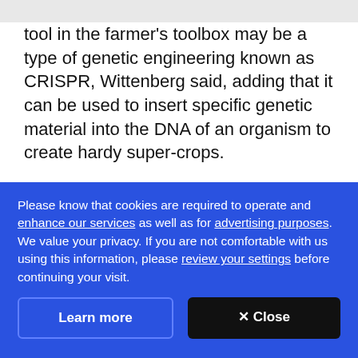tool in the farmer's toolbox may be a type of genetic engineering known as CRISPR, Wittenberg said, adding that it can be used to insert specific genetic material into the DNA of an organism to create hardy super-crops.
ADVERTISEMENT
"We are looking at warmer winters here in Western
Please know that cookies are required to operate and enhance our services as well as for advertising purposes. We value your privacy. If you are not comfortable with us using this information, please review your settings before continuing your visit.